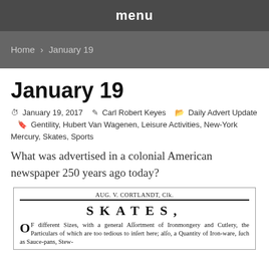menu
Home → January 19
January 19
January 19, 2017  Carl Robert Keyes  Daily Advert Update  Gentility, Hubert Van Wagenen, Leisure Activities, New-York Mercury, Skates, Sports
What was advertised in a colonial American newspaper 250 years ago today?
[Figure (other): Scanned colonial newspaper advertisement showing 'AUG. V. CORTLANDT, Clk.' heading, then 'SKATES,' in large spaced type, followed by body text: 'OF different Sizes, with a general Assortment of Ironmongery and Cutlery, the Particulars of which are too tedious to insert here; also, a Quantity of Iron-ware, such as Sauce-pans, Stew-']